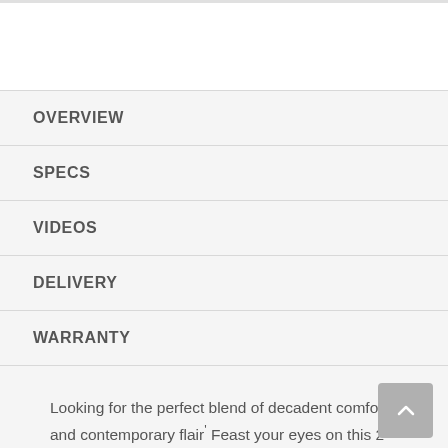OVERVIEW
SPECS
VIDEOS
DELIVERY
WARRANTY
Looking for the perfect blend of decadent comfort and contemporary flair' Feast your eyes on this 2-piece sleeper sectional and ottoman. Tufted box cushioning and thick pillow top armrests brilliantly merge style and a sumptuous